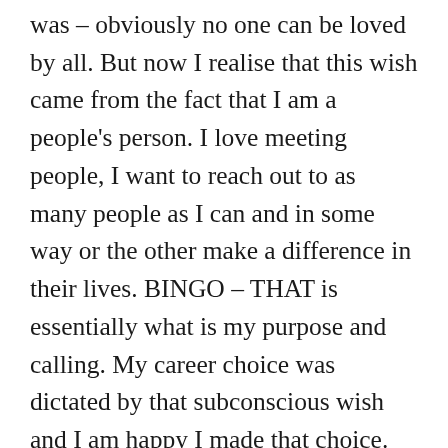was – obviously no one can be loved by all. But now I realise that this wish came from the fact that I am a people's person. I love meeting people, I want to reach out to as many people as I can and in some way or the other make a difference in their lives. BINGO – THAT is essentially what is my purpose and calling. My career choice was dictated by that subconscious wish and I am happy I made that choice. But I felt a different kind of fulfilment when I started writing my blog – and was able to reach out to people directly. It is when someone writes